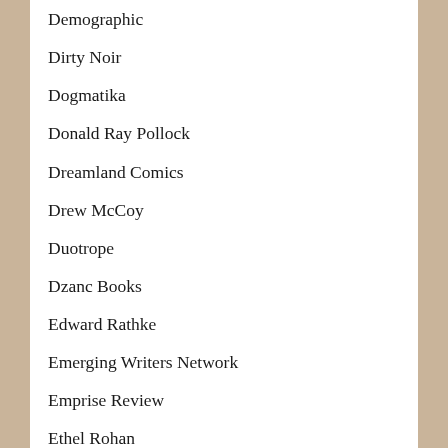Demographic
Dirty Noir
Dogmatika
Donald Ray Pollock
Dreamland Comics
Drew McCoy
Duotrope
Dzanc Books
Edward Rathke
Emerging Writers Network
Emprise Review
Ethel Rohan
Featherproof Books